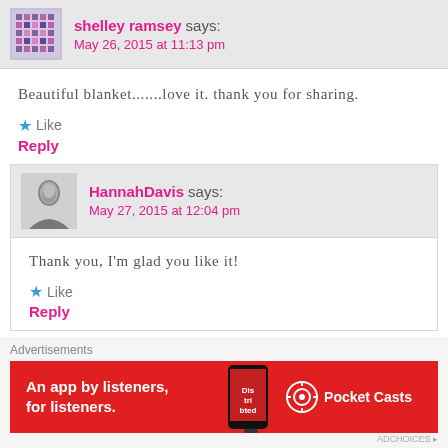shelley ramsey says: May 26, 2015 at 11:13 pm
Beautiful blanket.......love it. thank you for sharing.
★ Like
Reply
HannahDavis says: May 27, 2015 at 12:04 pm
Thank you, I'm glad you like it!
★ Like
Reply
Vicky says:
Advertisements
[Figure (infographic): Pocket Casts advertisement banner: red background with text 'An app by listeners, for listeners.' and Pocket Casts logo with phone image]